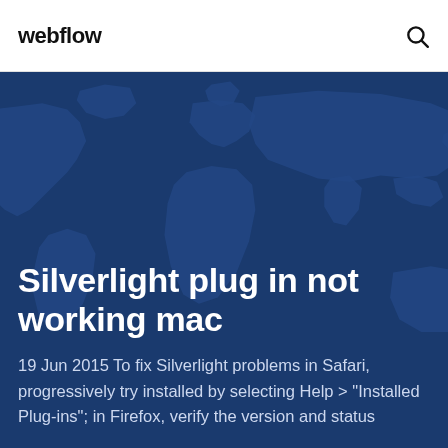webflow
Silverlight plug in not working mac
19 Jun 2015 To fix Silverlight problems in Safari, progressively try installed by selecting Help > "Installed Plug-ins"; in Firefox, verify the version and status